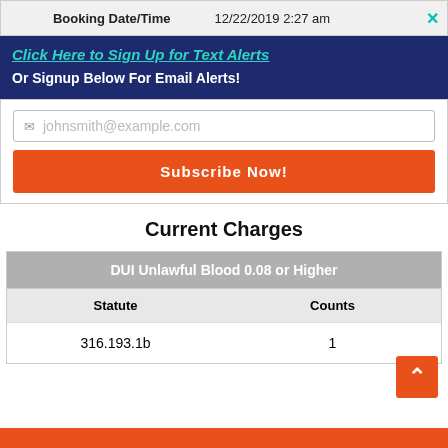| Booking Date/Time | 12/22/2019 2:27 am |
| --- | --- |
Click Here to Sign Up for Text Alerts
Or Signup Below For Email Alerts!
johnsmith@example.com
Subscribe Now!
Current Charges
| Statute | Counts |
| --- | --- |
| 316.193.1b | 1 |